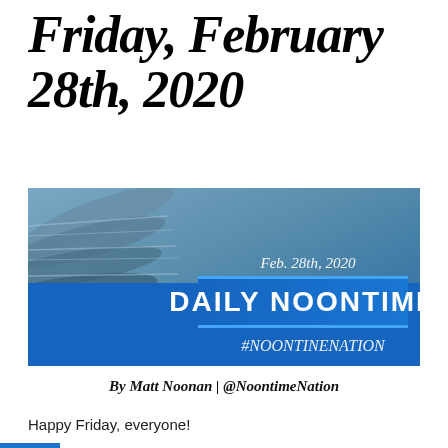Friday, February 28th, 2020
[Figure (illustration): Daily Noontime newsletter banner image showing rolled newspapers in blue-gray tones with text 'Feb. 28th, 2020', 'DAILY NOONTIME' in white bold text on blue background, and '#NOONTINENATION' in italic white text below]
By Matt Noonan | @NoontimeNation
Happy Friday, everyone!